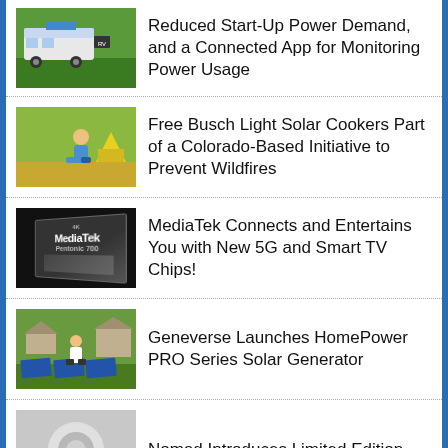Reduced Start-Up Power Demand, and a Connected App for Monitoring Power Usage
Free Busch Light Solar Cookers Part of a Colorado-Based Initiative to Prevent Wildfires
MediaTek Connects and Entertains You with New 5G and Smart TV Chips!
Geneverse Launches HomePower PRO Series Solar Generator
Nomad Introduces Limited Edition